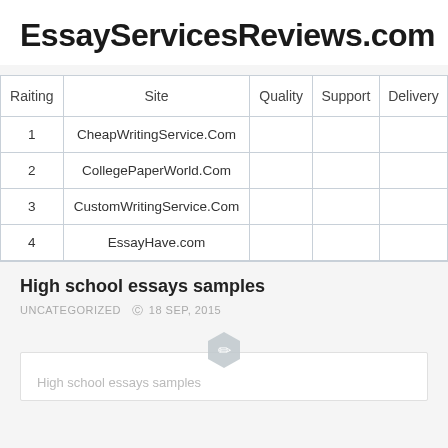EssayServicesReviews.com
| Raiting | Site | Quality | Support | Delivery |
| --- | --- | --- | --- | --- |
| 1 | CheapWritingService.Com |  |  |  |
| 2 | CollegePaperWorld.Com |  |  |  |
| 3 | CustomWritingService.Com |  |  |  |
| 4 | EssayHave.com |  |  |  |
High school essays samples
UNCATEGORIZED  ©  18 SEP, 2015
High school essays samples